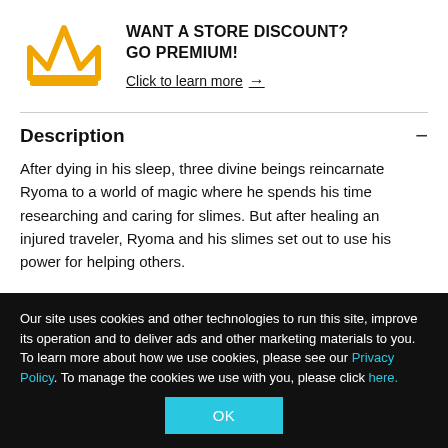[Figure (illustration): Golden crown outline icon]
WANT A STORE DISCOUNT?
GO PREMIUM!
Click to learn more →
Description
After dying in his sleep, three divine beings reincarnate Ryoma to a world of magic where he spends his time researching and caring for slimes. But after healing an injured traveler, Ryoma and his slimes set out to use his power for helping others.
Our site uses cookies and other technologies to run this site, improve its operation and to deliver ads and other marketing materials to you. To learn more about how we use cookies, please see our Privacy Policy. To manage the cookies we use with you, please click here.